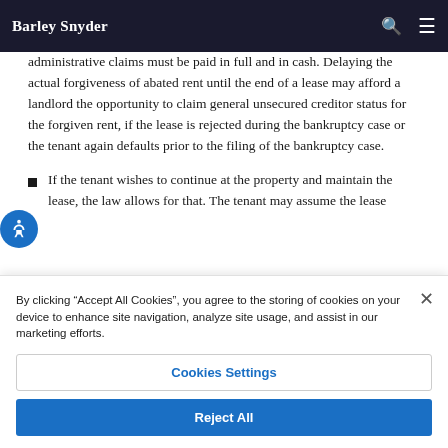Barley Snyder
which have a higher priority above other unsecured claims and those of the bankruptcy professionals in the case. To confirm a Chapter 11 plan, administrative claims must be paid in full and in cash. Delaying the actual forgiveness of abated rent until the end of a lease may afford a landlord the opportunity to claim general unsecured creditor status for the forgiven rent, if the lease is rejected during the bankruptcy case or the tenant again defaults prior to the filing of the bankruptcy case.
If the tenant wishes to continue at the property and maintain the lease, the law allows for that. The tenant may assume the lease during the bankruptcy case even if the landlord objects to...
By clicking "Accept All Cookies", you agree to the storing of cookies on your device to enhance site navigation, analyze site usage, and assist in our marketing efforts.
Cookies Settings
Reject All